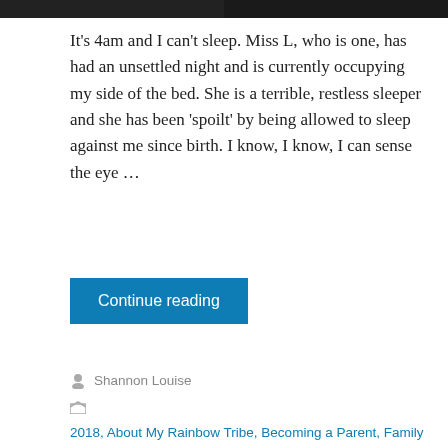[Figure (photo): Two cropped black and white photo thumbnails at the top of the page]
It's 4am and I can't sleep. Miss L, who is one, has had an unsettled night and is currently occupying my side of the bed. She is a terrible, restless sleeper and she has been 'spoilt' by being allowed to sleep against me since birth. I know, I know, I can sense the eye …
Continue reading
Shannon Louise
2018, About My Rainbow Tribe, Becoming a Parent, Family Dynamics, In-vitro Fertilisation (IVF), Infertility, Intra-uterine Insemination (IUI), lgbt parenting, Ovarian Hyperstimulation (OHSS), Parental challenges, PCOS, Same sex parenting, Shared Parenting, Uncategorized
4 Comments  August 17, 2018  4 Minutes